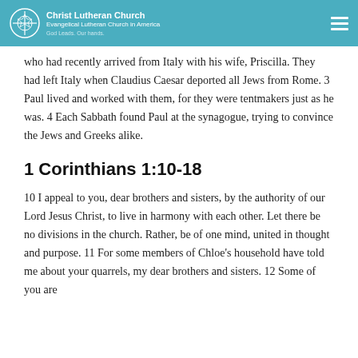Christ Lutheran Church | Evangelical Lutheran Church in America | God Leads. Our hands.
who had recently arrived from Italy with his wife, Priscilla. They had left Italy when Claudius Caesar deported all Jews from Rome. 3 Paul lived and worked with them, for they were tentmakers just as he was. 4 Each Sabbath found Paul at the synagogue, trying to convince the Jews and Greeks alike.
1 Corinthians 1:10-18
10 I appeal to you, dear brothers and sisters, by the authority of our Lord Jesus Christ, to live in harmony with each other. Let there be no divisions in the church. Rather, be of one mind, united in thought and purpose. 11 For some members of Chloe's household have told me about your quarrels, my dear brothers and sisters. 12 Some of you are